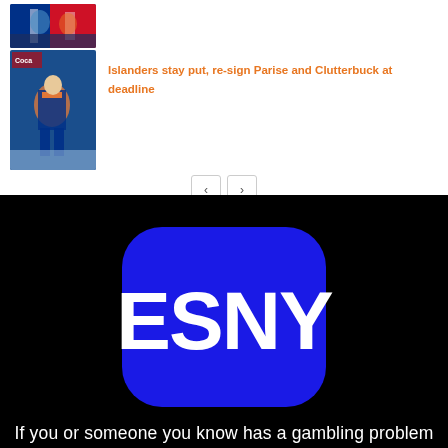[Figure (photo): Hockey players in blue and red NY Rangers uniforms on ice — top thumbnail, partially visible]
[Figure (photo): Hockey player in NY Islanders blue and orange uniform skating on ice — second row thumbnail]
Islanders stay put, re-sign Parise and Clutterbuck at deadline
[Figure (logo): ESNY logo — white text on blue rounded-rectangle background, on black background]
If you or someone you know has a gambling problem